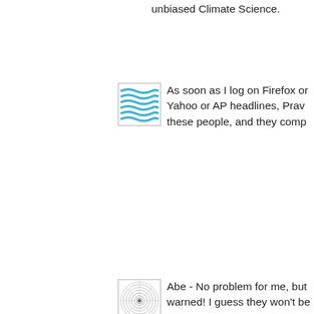unbiased Climate Science.
[Figure (illustration): Blue wavy lines avatar icon (water/wave pattern)]
As soon as I log on Firefox or Yahoo or AP headlines, Pravo these people, and they comp
[Figure (illustration): Circular spiral/mandala pattern avatar icon]
Abe - No problem for me, but warned! I guess they won't be upcoming rap music. Poor Ja
[Figure (illustration): Blue wavy lines avatar icon (water/wave pattern)]
Morning all!

Well, I have to apologize som gave in and read a few threa don't care much for Allah or B commenters as always. Espe there are still lots of happy wa
Praying they're vindicated too